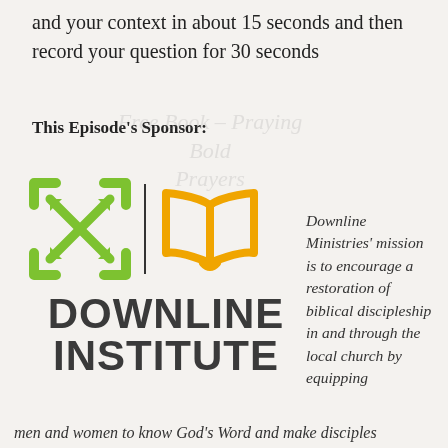and your context in about 15 seconds and then record your question for 30 seconds
This Episode's Sponsor:
[Figure (logo): Downline Institute logo with green expand arrows icon, vertical divider, and orange open book icon above bold dark text DOWNLINE INSTITUTE]
Downline Ministries' mission is to encourage a restoration of biblical discipleship in and through the local church by equipping
men and women to know God's Word and make disciples